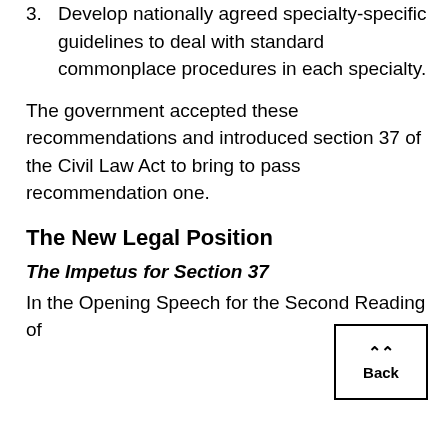3. Develop nationally agreed specialty-specific guidelines to deal with standard commonplace procedures in each specialty.
The government accepted these recommendations and introduced section 37 of the Civil Law Act to bring to pass recommendation one.
The New Legal Position
The Impetus for Section 37
In the Opening Speech for the Second Reading of